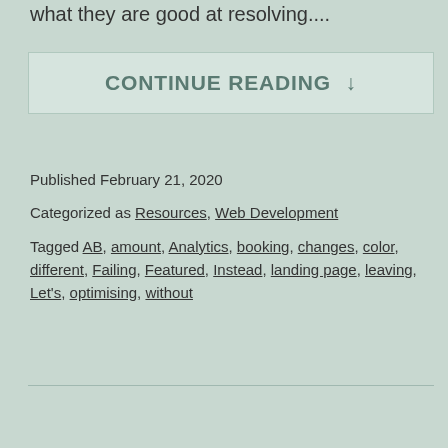what they are good at resolving....
CONTINUE READING ↓
Published February 21, 2020
Categorized as Resources, Web Development
Tagged AB, amount, Analytics, booking, changes, color, different, Failing, Featured, Instead, landing page, leaving, Let's, optimising, without